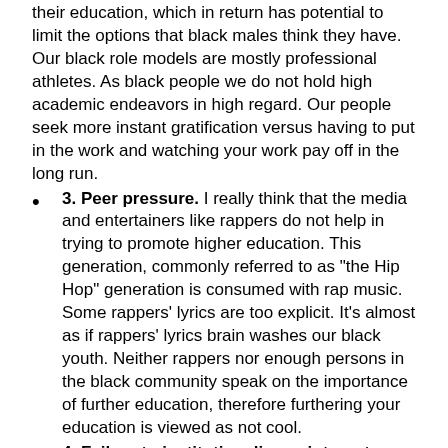their education, which in return has potential to limit the options that black males think they have. Our black role models are mostly professional athletes. As black people we do not hold high academic endeavors in high regard. Our people seek more instant gratification versus having to put in the work and watching your work pay off in the long run.
3. Peer pressure. I really think that the media and entertainers like rappers do not help in trying to promote higher education. This generation, commonly referred to as "the Hip Hop" generation is consumed with rap music. Some rappers' lyrics are too explicit. It's almost as if rappers' lyrics brain washes our black youth. Neither rappers nor enough persons in the black community speak on the importance of further education, therefore furthering your education is viewed as not cool.
4. Failure to institutionalize or integrate with higher education. Often times, black male students fail to realize the importance of becoming fully acclimated with the university and the many resources they offer.
Terra Sig: In a February 18 Campus Echo article, you were quoted as saying, "The men need real down-to-earth, uncensored talk to prove we care. We need to plant the seed and provide mentors to go beyond all measures to